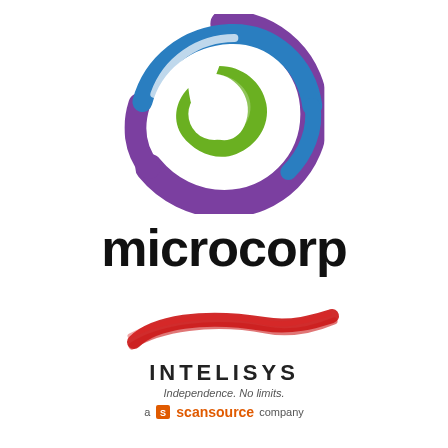[Figure (logo): Microcorp logo: circular swirl with purple outer ring, blue middle arc, and green crescent shape, with white highlight inside. Below the graphic, the word 'microcorp' in bold black lowercase lettering.]
[Figure (logo): Intelisys logo: red brushstroke diagonal swoosh above the word INTELISYS in bold spaced uppercase letters. Tagline 'Independence. No limits.' in italic below. At the bottom: 'a ScanSource company' with ScanSource in orange-red bold and a small SS icon.]